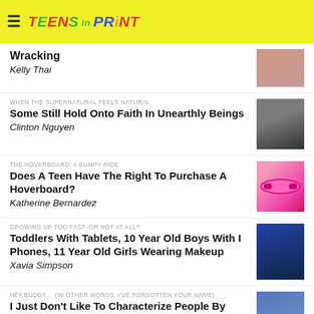TEENS IN PRINT
Wracking
Kelly Thai
WHEN THE SUPERNATURAL FEELS NATURAL
Some Still Hold Onto Faith In Unearthly Beings
Clinton Nguyen
THE HOVERBOARD: A BUMPY RIDE
Does A Teen Have The Right To Purchase A Hoverboard?
Katherine Bernardez
GROWING UP TOO FAST–OR NOT AT ALL?
Toddlers With Tablets, 10 Year Old Boys With I Phones, 11 Year Old Girls Wearing Makeup
Xavia Simpson
HEY,BUDDY.... (IN OTHER WORDS, I'VE FORGOTTEN YOUR NAME)
I Just Don't Like To Characterize People By Their Names
Rosa Sanchez